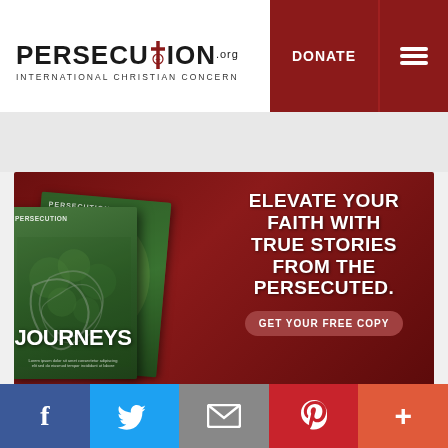[Figure (logo): Persecution.org International Christian Concern logo with cross]
DONATE
[Figure (illustration): Advertisement banner with dark red background showing PERSECUTION magazine titled JOURNEYS and text: ELEVATE YOUR FAITH WITH TRUE STORIES FROM THE PERSECUTED. GET YOUR FREE COPY button.]
[Figure (infographic): Social sharing bar with Facebook, Twitter, Email, Pinterest, and More buttons]